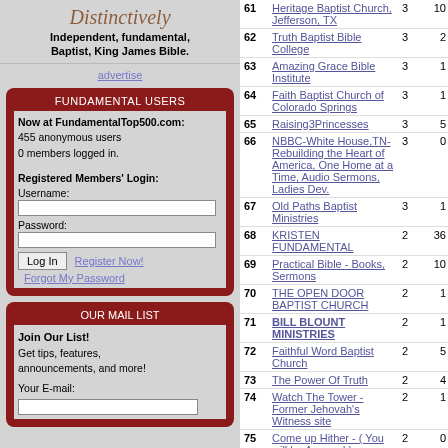[Figure (illustration): Banner graphic with cursive 'Distinctively' text and bold text: Independent, fundamental, Baptist, King James Bible.]
advertise
FUNDAMENTAL USERS
Now at FundamentalTop500.com:
455 anonymous users
0 members logged in.
Registered Members' Login:
Username:
Password:
OUR MAIL LIST
Join Our List!
Get tips, features, announcements, and more!
Your E-mail:
| # | Name | In | Out |
| --- | --- | --- | --- |
| 61 | Heritage Baptist Church, Jefferson, TX | 3 | 10 |
| 62 | Truth Baptist Bible College | 3 | 2 |
| 63 | Amazing Grace Bible Institute | 3 | 1 |
| 64 | Faith Baptist Church of Colorado Springs | 3 | 1 |
| 65 | Raising3Princesses | 3 | 5 |
| 66 | NBBC-White House,TN-Rebuilding the Heart of America, One Home at a Time, Audio Sermons, Ladies Dev. | 3 | 0 |
| 67 | Old Paths Baptist Ministries | 3 | 1 |
| 68 | KRISTEN FUNDAMENTAL | 2 | 36 |
| 69 | Practical Bible - Books, Sermons | 2 | 10 |
| 70 | THE OPEN DOOR BAPTIST CHURCH | 2 | 1 |
| 71 | BILL BLOUNT MINISTRIES | 2 | 1 |
| 72 | Faithful Word Baptist Church | 2 | 5 |
| 73 | The Power Of Truth | 2 | 4 |
| 74 | Watch The Tower - Former Jehovah's Witness site | 2 | 1 |
| 75 | Come up Hither - ( You will be Amazed ) | 2 | 0 |
| 76 | Old Fashioned Christian Music Radio + Online Music Store 5.00 stars | 2 | 0 |
| 77 | Gods Simple Plan of salvation | 1 | 2 |
| 78 | S. David & Geri Smith in Brazil Home | 1 | 1 |
| 79 | star independent baptist church | 1 | 0 |